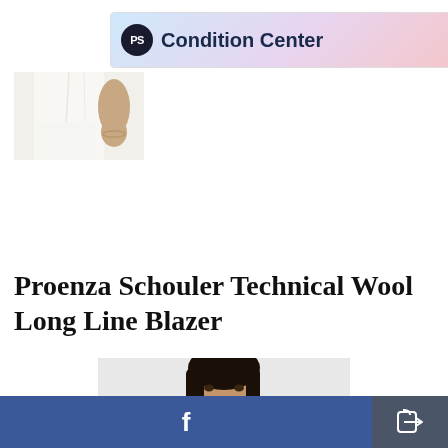[Figure (screenshot): Condition Center advertisement banner with PS logo, gradient background (blue to pink), close X button, and arrow]
[Figure (photo): Cropped product photo showing white garment on model, only lower torso visible]
Proenza Schouler Technical Wool Long Line Blazer
[Figure (photo): Product photo of woman with dark hair wearing a blazer, neutral expression, light grey background]
[Figure (screenshot): Bottom navigation bar with Facebook share button (blue) and generic share button (dark grey)]